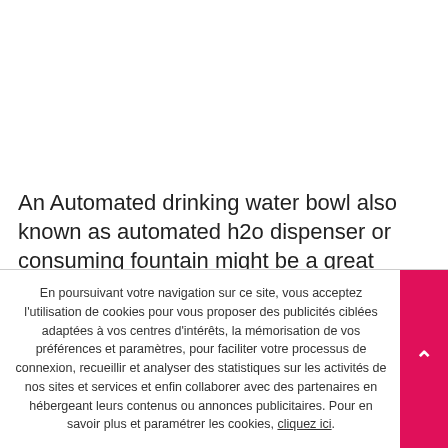An Automated drinking water bowl also known as automated h2o dispenser or consuming fountain might be a great Remedy to persuade your lovely dog or pet to consume adequate h2o throughout the day. Today, there are several types of ingesting fountain obtainable out there. Nevertheless, will we really need this automated device around the traditional a single? Why You should
En poursuivant votre navigation sur ce site, vous acceptez l'utilisation de cookies pour vous proposer des publicités ciblées adaptées à vos centres d'intérêts, la mémorisation de vos préférences et paramètres, pour faciliter votre processus de connexion, recueillir et analyser des statistiques sur les activités de nos sites et services et enfin collaborer avec des partenaires en hébergeant leurs contenus ou annonces publicitaires. Pour en savoir plus et paramétrer les cookies, cliquez ici.